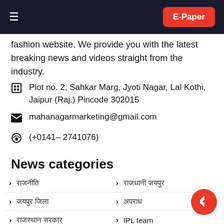≡   E-Paper
fashion website. We provide you with the latest breaking news and videos straight from the industry.
🏢  Plot no. 2, Sahkar Marg, Jyoti Nagar, Lal Kothi, Jaipur (Raj.) Pincode 302015
✉  mahanagarmarketing@gmail.com
(+0141– 2741076)
News categories
राजनीति
राजधानी जयपुर
जयपुर जिला
अपराध
राजस्थान सरकार
IPL team
राजधानी उदयपुर
मनोरंजन
आईपीएल 2022
राजस्थान रॉयल्स 2022